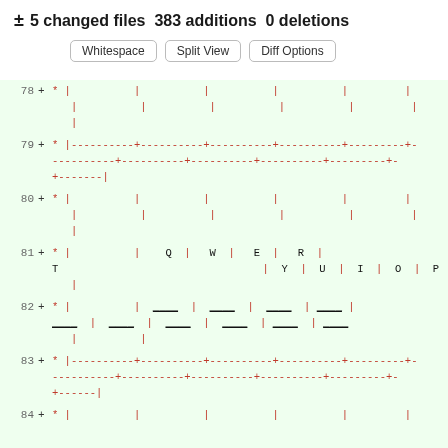± 5 changed files 383 additions 0 deletions
[Figure (screenshot): GitHub-style diff viewer showing lines 78-84 of a code diff. Each line is marked with '+' indicating additions, with red colored ASCII art content showing pipe characters and dashed lines. Line 81 contains black letters T, Y, Q, U, W, I, E, O, R, P arranged in a table-like pattern.]